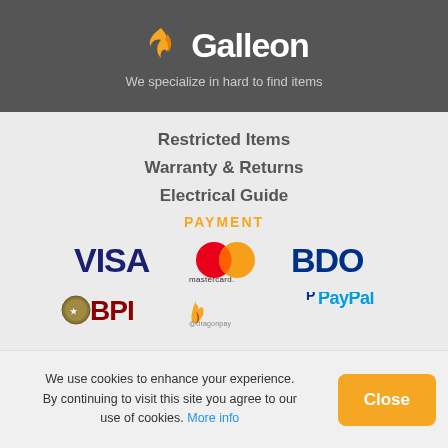[Figure (logo): Galleon logo with orange flame/bird icon and white text on dark gray header background]
We specialize in hard to find items
Restricted Items
Warranty & Returns
Electrical Guide
PAYMENT
[Figure (logo): Payment logos: VISA, Mastercard, BDO, BPI, dragonpay, PayPal]
We use cookies to enhance your experience. By continuing to visit this site you agree to our use of cookies. More info